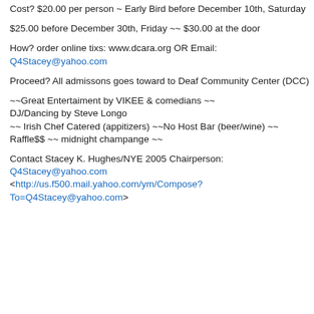Cost? $20.00 per person ~ Early Bird before December 10th, Saturday
$25.00 before December 30th, Friday ~~ $30.00 at the door
How? order online tixs: www.dcara.org OR Email: Q4Stacey@yahoo.com
Proceed? All admissons goes toward to Deaf Community Center (DCC)
~~Great Entertaiment by VIKEE & comedians ~~ DJ/Dancing by Steve Longo
~~ Irish Chef Catered (appitizers) ~~No Host Bar (beer/wine) ~~
Raffle$$ ~~ midnight champange ~~
Contact Stacey K. Hughes/NYE 2005 Chairperson: Q4Stacey@yahoo.com <http://us.f500.mail.yahoo.com/ym/Compose?To=Q4Stacey@yahoo.com>